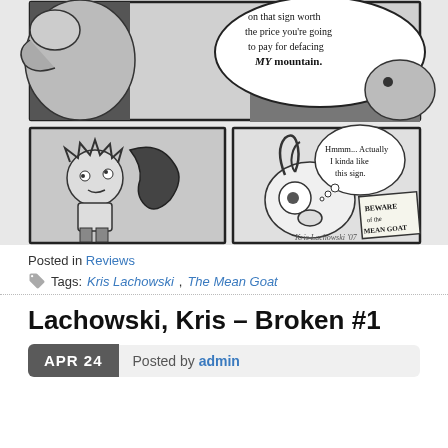[Figure (illustration): Comic strip panels in black and white. Top panel shows a speech bubble saying 'on that sign worth the price you're going to pay for defacing MY mountain.' Bottom left panel shows a person being grabbed. Bottom right panel shows a goat with a thought bubble saying 'Hmmm... Actually I kinda like this sign.' and a sign reading 'BEWARE of the MEAN GOAT'. Signed 'Kris Lachowski '07'.]
Posted in Reviews
Tags: Kris Lachowski, The Mean Goat
Lachowski, Kris – Broken #1
APR 24  Posted by admin